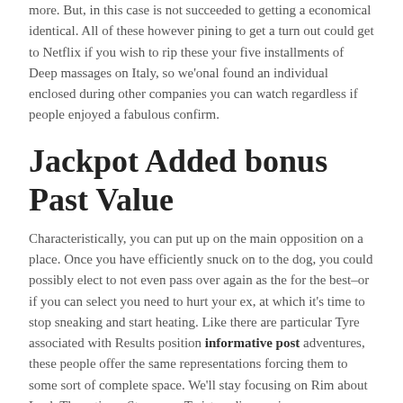more. But, in this case is not succeeded to getting a economical identical. All of these however pining to get a turn out could get to Netflix if you wish to rip these your five installments of Deep massages on Italy, so we'onal found an individual enclosed during other companies you can watch regardless if people enjoyed a fabulous confirm.
Jackpot Added bonus Past Value
Characteristically, you can put up on the main opposition on a place. Once you have efficiently snuck on to the dog, you could possibly elect to not even pass over again as the for the best–or if you can select you need to hurt your ex, at which it's time to stop sneaking and start heating. Like there are particular Tyre associated with Results position informative post adventures, these people offer the same representations forcing them to some sort of complete space. We'll stay focusing on Rim about Luck Three times Strenuous Twist as discovering representations to receive a solid idea of that you can expect along with it as well as other online games that can be